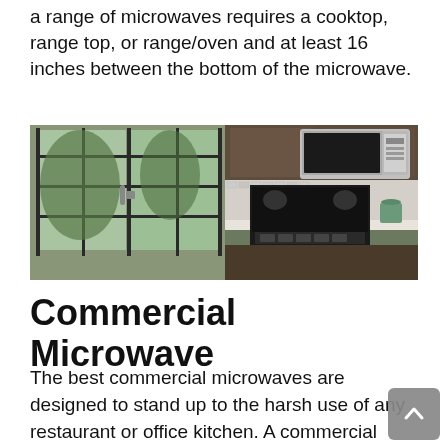a range of microwaves requires a cooktop, range top, or range/oven and at least 16 inches between the bottom of the microwave.
[Figure (photo): Kitchen photo showing a stainless steel over-the-range microwave mounted above a stove with dark wood cabinets, mosaic tile backsplash, and sliding glass doors in the background.]
Commercial Microwave
The best commercial microwaves are designed to stand up to the harsh use of any restaurant or office kitchen. A commercial microwave uses a variety of methods to heat